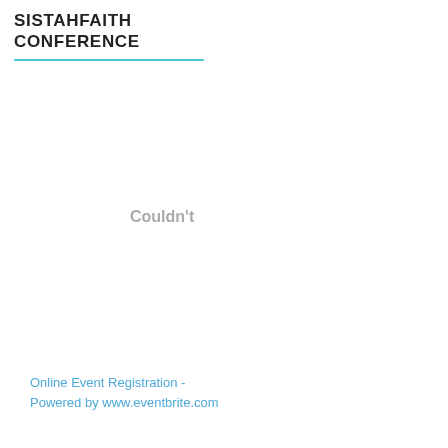SISTAHFAITH CONFERENCE
Couldn't
Online Event Registration - Powered by www.eventbrite.com